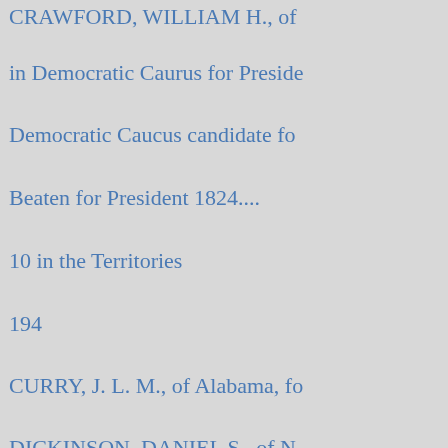CRAWFORD, WILLIAM H., of
in Democratic Caurus for Preside
Democratic Caucus candidate fo
Beaten for President 1824....
10 in the Territories
194
CURRY, J. L. M., of Alabama, f
DICKINSON, DANIEL S., of N
tion..
172
ported for President in Democrat
CUSHING, Gen. CALEB, of Ma
41
President of Democratic Nationa
1860..
Dix, Gen. JOHN A., advocates F
29
Retires from the chair at Baltimo